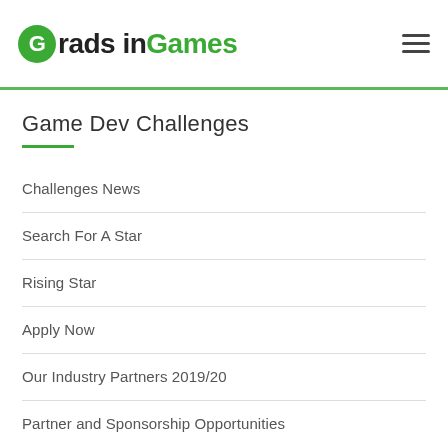Grads in Games
Game Dev Challenges
Challenges News
Search For A Star
Rising Star
Apply Now
Our Industry Partners 2019/20
Partner and Sponsorship Opportunities